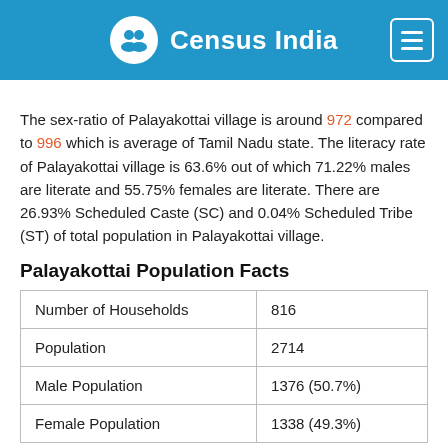Census India
The sex-ratio of Palayakottai village is around 972 compared to 996 which is average of Tamil Nadu state. The literacy rate of Palayakottai village is 63.6% out of which 71.22% males are literate and 55.75% females are literate. There are 26.93% Scheduled Caste (SC) and 0.04% Scheduled Tribe (ST) of total population in Palayakottai village.
Palayakottai Population Facts
| Number of Households | 816 |
| Population | 2714 |
| Male Population | 1376 (50.7%) |
| Female Population | 1338 (49.3%) |